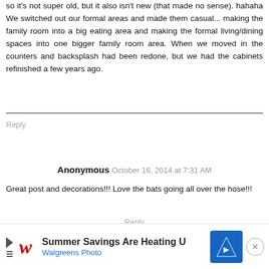so it's not super old, but it also isn't new (that made no sense). hahaha We switched out our formal areas and made them casual... making the family room into a big eating area and making the formal living/dining spaces into one bigger family room area. When we moved in the counters and backsplash had been redone, but we had the cabinets refinished a few years ago.
Reply
Anonymous October 16, 2014 at 7:31 AM
Great post and decorations!!! Love the bats going all over the hose!!!
Reply
Replies
[Figure (other): Walgreens Photo advertisement banner: 'Summer Savings Are Heating U' with Walgreens W logo in red cursive, Walgreens Photo text in blue, a blue diamond navigation icon, and an X close button.]